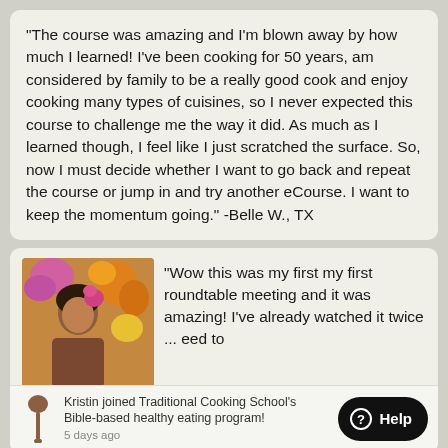"The course was amazing and I'm blown away by how much I learned! I've been cooking for 50 years, am considered by family to be a really good cook and enjoy cooking many types of cuisines, so I never expected this course to challenge me the way it did. As much as I learned though, I feel like I just scratched the surface. So, now I must decide whether I want to go back and repeat the course or jump in and try another eCourse. I want to keep the momentum going." -Belle W., TX
[Figure (photo): Photo of a woman with flowers in her hair]
"Wow this was my first my first roundtable meeting and it was amazing! I've already watched it twice ... need to ... helpful, truly! Thanks so
Kristin joined Traditional Cooking School's Bible-based healthy eating program!
5 days ago
Help